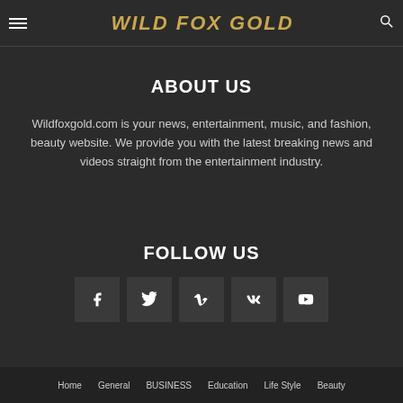WILD FOX GOLD
ABOUT US
Wildfoxgold.com is your news, entertainment, music, and fashion, beauty website. We provide you with the latest breaking news and videos straight from the entertainment industry.
FOLLOW US
[Figure (infographic): Five social media icon buttons: Facebook, Twitter, Vimeo, VK, YouTube]
Home   General   BUSINESS   Education   Life Style   Beauty